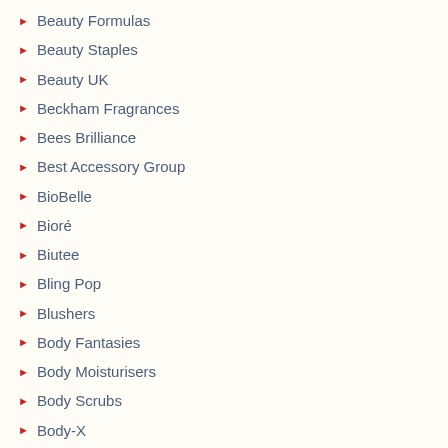Beauty Formulas
Beauty Staples
Beauty UK
Beckham Fragrances
Bees Brilliance
Best Accessory Group
BioBelle
Bioré
Biutee
Bling Pop
Blushers
Body Fantasies
Body Moisturisers
Body Scrubs
Body-X
Boo Bamboo
Boots
Born Pretty
Botanical Lab
Bourjois